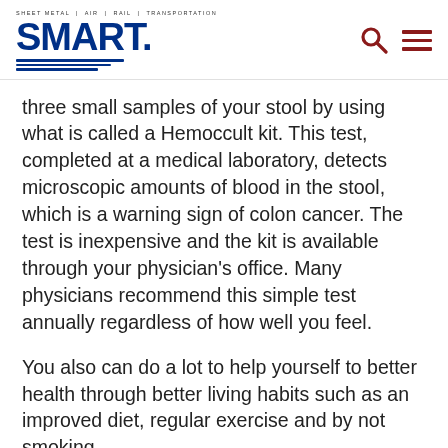SMART (Sheet Metal | Air | Rail | Transportation) logo with search and menu icons
three small samples of your stool by using what is called a Hemoccult kit. This test, completed at a medical laboratory, detects microscopic amounts of blood in the stool, which is a warning sign of colon cancer. The test is inexpensive and the kit is available through your physician's office. Many physicians recommend this simple test annually regardless of how well you feel.
You also can do a lot to help yourself to better health through better living habits such as an improved diet, regular exercise and by not smoking.
Additionally, you should always be alert for any suspicious symptoms – such as a change in bowel